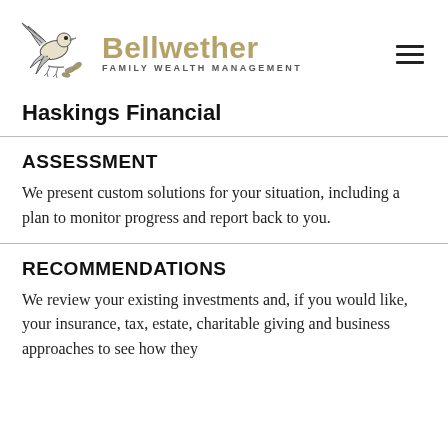[Figure (logo): Bellwether Family Wealth Management logo with a bird illustration and text]
Haskings Financial
ASSESSMENT
We present custom solutions for your situation, including a plan to monitor progress and report back to you.
RECOMMENDATIONS
We review your existing investments and, if you would like, your insurance, tax, estate, charitable giving and business approaches to see how they